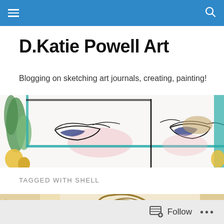Navigation bar with menu and search icons
D.Katie Powell Art
Blogging on sketching art journals, creating, painting!
[Figure (illustration): Watercolor and ink illustration showing birds in nests with teal framing lines, green and yellow foliage on sides]
TAGGED WITH SHELL
[Figure (illustration): Close-up of a spiral shell sketch rendered in golden-brown tones]
Follow ...